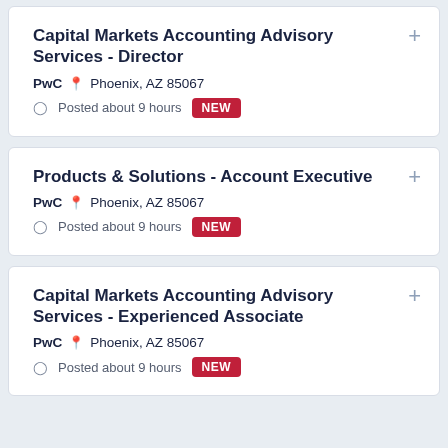Capital Markets Accounting Advisory Services - Director
PwC  Phoenix, AZ 85067
Posted about 9 hours  NEW
Products & Solutions - Account Executive
PwC  Phoenix, AZ 85067
Posted about 9 hours  NEW
Capital Markets Accounting Advisory Services - Experienced Associate
PwC  Phoenix, AZ 85067
Posted about 9 hours  NEW